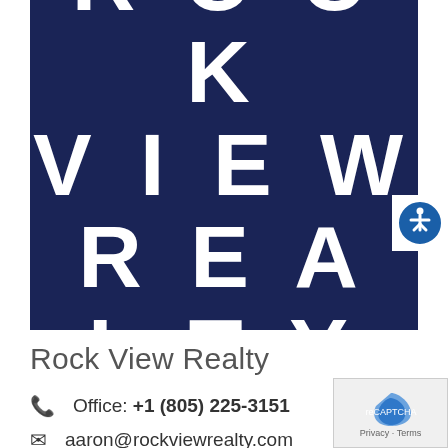[Figure (logo): Rock View Realty logo — dark navy blue rectangular background with large white bold spaced capital letters reading ROCK VIEW REALTY in three rows]
Rock View Realty
Office: +1 (805) 225-3151
aaron@rockviewrealty.com